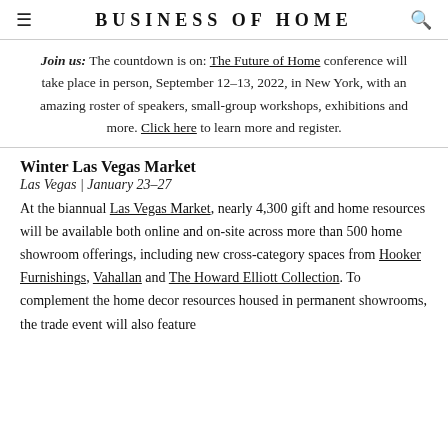BUSINESS OF HOME
Join us: The countdown is on: The Future of Home conference will take place in person, September 12–13, 2022, in New York, with an amazing roster of speakers, small-group workshops, exhibitions and more. Click here to learn more and register.
Winter Las Vegas Market
Las Vegas | January 23–27
At the biannual Las Vegas Market, nearly 4,300 gift and home resources will be available both online and on-site across more than 500 home showroom offerings, including new cross-category spaces from Hooker Furnishings, Vahallan and The Howard Elliott Collection. To complement the home decor resources housed in permanent showrooms, the trade event will also feature